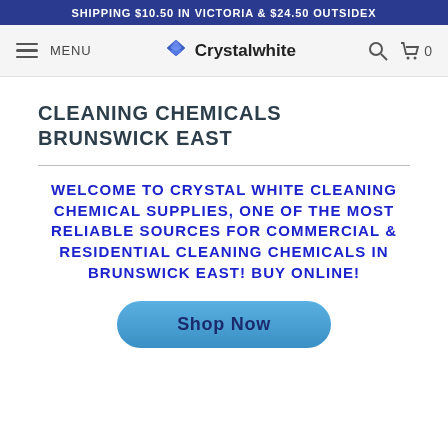SHIPPING $10.50 IN VICTORIA & $24.50 OUTSIDEX
MENU | Crystalwhite | Search | Cart 0
CLEANING CHEMICALS BRUNSWICK EAST
WELCOME TO CRYSTAL WHITE CLEANING CHEMICAL SUPPLIES, ONE OF THE MOST RELIABLE SOURCES FOR COMMERCIAL & RESIDENTIAL CLEANING CHEMICALS IN BRUNSWICK EAST! BUY ONLINE!
Shop Now